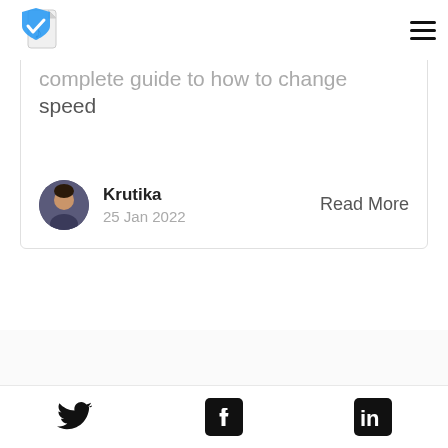[Figure (logo): App logo: blue shield with checkmark and musical note, with a document icon]
[Figure (other): Hamburger menu icon (three horizontal lines)]
complete guide to how to change speed
[Figure (photo): Circular avatar photo of author Krutika]
Krutika
25 Jan 2022
Read More
[Figure (logo): Partial app logo at bottom of page]
[Figure (other): Twitter bird icon]
[Figure (other): Facebook 'f' icon in black square]
[Figure (other): LinkedIn 'in' icon in black square]